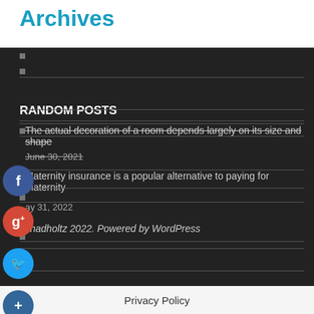Archives
RANDOM POSTS
The actual decoration of a room depends largely on its size and shape
June 30, 2021
Maternity insurance is a popular alternative to paying for maternity
May 31, 2022
chadholtz 2022. Powered by WordPress
Privacy Policy